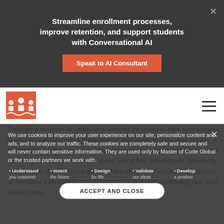Streamline enrollment processes, improve retention, and support students with Conversational AI
[Figure (screenshot): CTA button: Speak to AI Consultant on dark banner overlay]
[Figure (logo): Master of Code Global logo - red icon with audience/people graphic]
Cultivating a sense of safety and security for users in their interactions is also crucial for driving engagement that leads to customer loyalty. A multimodal experience can help achieve this. Speaking aloud and receiving an audio response make voice-first interactions inherently more public. If a use case involves the need for users to share private or sensitive information, combining voice-first with displaying text and visual inputs
We use cookies to improve your user experience on our site, personalize content and ads, and to analyze our traffic. These cookies are completely safe and secure and will never contain sensitive information. They are used only by Master of Code Global or the trusted partners we work with.
Understand you customer
Invent the future
Design for life
Validate our ideas
Develop a product
ACCEPT AND CLOSE